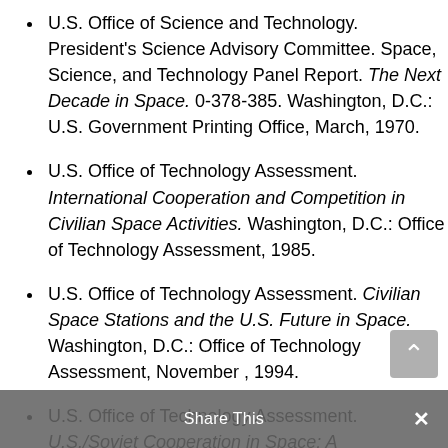U.S. Office of Science and Technology. President's Science Advisory Committee. Space, Science, and Technology Panel Report. The Next Decade in Space. 0-378-385. Washington, D.C.: U.S. Government Printing Office, March, 1970.
U.S. Office of Technology Assessment. International Cooperation and Competition in Civilian Space Activities. Washington, D.C.: Office of Technology Assessment, 1985.
U.S. Office of Technology Assessment. Civilian Space Stations and the U.S. Future in Space. Washington, D.C.: Office of Technology Assessment, November , 1994.
U.S. Office of Technology Assessment. U.S./Soviet Cooperation in Space: A...